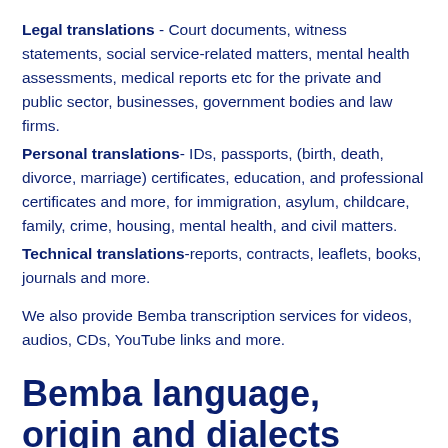Legal translations - Court documents, witness statements, social service-related matters, mental health assessments, medical reports etc for the private and public sector, businesses, government bodies and law firms.
Personal translations- IDs, passports, (birth, death, divorce, marriage) certificates, education, and professional certificates and more, for immigration, asylum, childcare, family, crime, housing, mental health, and civil matters.
Technical translations-reports, contracts, leaflets, books, journals and more.
We also provide Bemba transcription services for videos, audios, CDs, YouTube links and more.
Bemba language, origin and dialects spoken over the world.